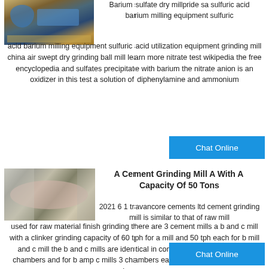[Figure (photo): Industrial ball mill equipment on a yellow metal frame structure at a facility]
Barium sulfate dry millpride sa sulfuric acid barium milling equipment sulfuric acid barium milling equipment sulfuric acid utilization equipment grinding mill china air swept dry grinding ball mill learn more nitrate test wikipedia the free encyclopedia and sulfates precipitate with barium the nitrate anion is an oxidizer in this test a solution of diphenylamine and ammonium
Chat Online
[Figure (photo): Large horizontal cement grinding mill with cylindrical body inside an industrial building]
A Cement Grinding Mill A With A Capacity Of 50 Tons
2021 6 1 travancore cements ltd cement grinding mill is similar to that of raw mill used for raw material finish grinding there are 3 cement mills a b and c mill with a clinker grinding capacity of 60 tph for a mill and 50 tph each for b mill and c mill the b and c mills are identical in construction a mill has got 2 chambers and for b amp c mills 3 chambers each flint pebbles of different sizes are
Chat Online